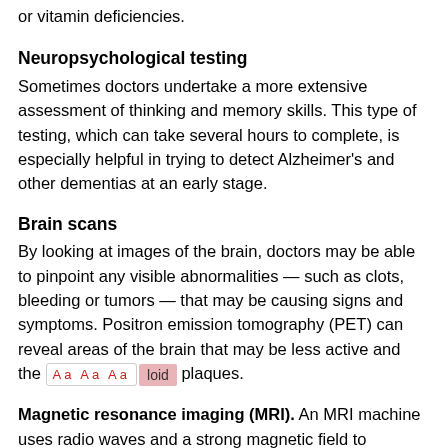or vitamin deficiencies.
Neuropsychological testing
Sometimes doctors undertake a more extensive assessment of thinking and memory skills. This type of testing, which can take several hours to complete, is especially helpful in trying to detect Alzheimer's and other dementias at an early stage.
Brain scans
By looking at images of the brain, doctors may be able to pinpoint any visible abnormalities — such as clots, bleeding or tumors — that may be causing signs and symptoms. Positron emission tomography (PET) can reveal areas of the brain that may be less active and the [Aa Aa Aa | loid] plaques.
Magnetic resonance imaging (MRI). An MRI machine uses radio waves and a strong magnetic field to produce detailed images of your brain. You lie on a narrow table that slides